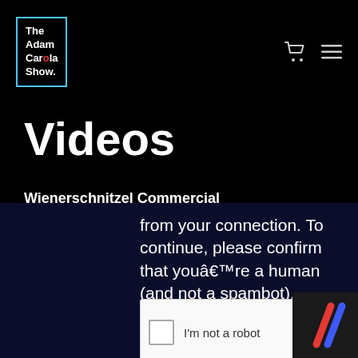The Adam Carolla Show. [navigation icons]
Videos
Wienerschnitzel Commercial
from your connection. To continue, please confirm that youâ€™re a human (and not a spambot).
[Figure (screenshot): reCAPTCHA widget with checkbox labeled I'm not a robot]
[Figure (logo): Dark box with two diagonal lines logo in red and blue]